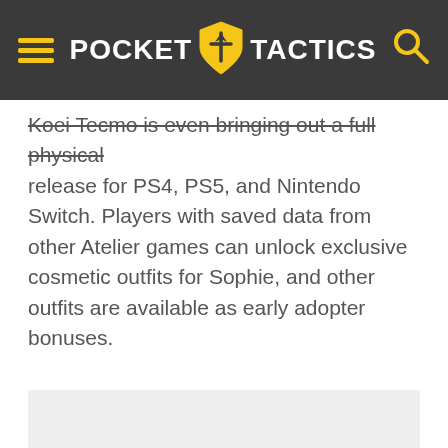Pocket Tactics
Koei Tecmo is even bringing out a full physical release for PS4, PS5, and Nintendo Switch. Players with saved data from other Atelier games can unlock exclusive cosmetic outfits for Sophie, and other outfits are available as early adopter bonuses.
[Figure (other): Advertisement or placeholder image block, light grey background]